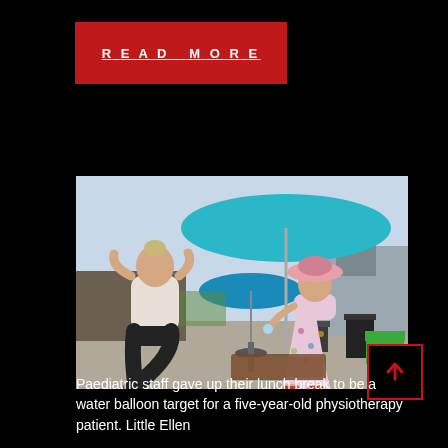READ MORE
[Figure (photo): Outdoor photo of a kneeling adult woman covering her face as a young girl in a floral dress and pink sun hat appears to throw or hand something to her. A teal patio umbrella is open above them, a second umbrella is partially visible in the background, along with a green plastic toddler chair and various outdoor items on a paved area.]
[Figure (other): Red-bordered scroll-up arrow button icon]
Paediatric staff gave up their lunch break to be a water balloon target for a five-year-old physiotherapy patient. Little Ellen